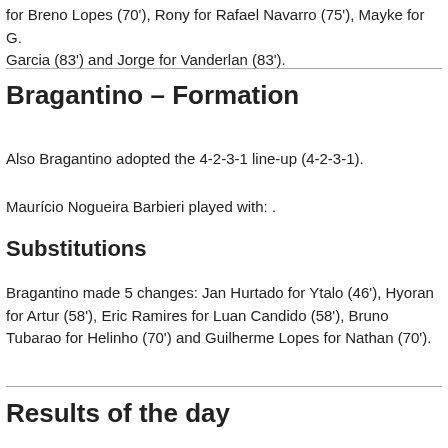for Breno Lopes (70'), Rony for Rafael Navarro (75'), Mayke for G. Garcia (83') and Jorge for Vanderlan (83').
Bragantino – Formation
Also Bragantino adopted the 4-2-3-1 line-up (4-2-3-1).
Maurício Nogueira Barbieri played with: .
Substitutions
Bragantino made 5 changes: Jan Hurtado for Ytalo (46'), Hyoran for Artur (58'), Eric Ramires for Luan Candido (58'), Bruno Tubarao for Helinho (70') and Guilherme Lopes for Nathan (70').
Results of the day